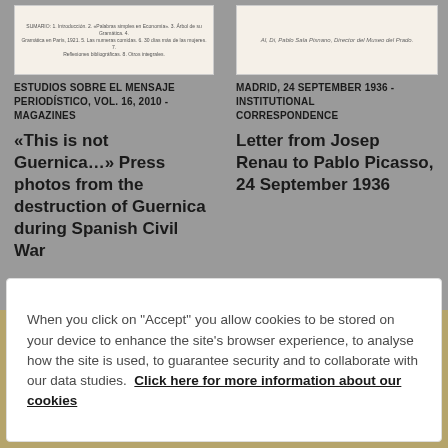[Figure (screenshot): Thumbnail image of a page from Estudios sobre el Mensaje Periodístico, Vol. 16, 2010]
[Figure (screenshot): Thumbnail image of a letter, Madrid 24 September 1936]
ESTUDIOS SOBRE EL MENSAJE PERIODÍSTICO, VOL. 16, 2010 - MAGAZINES
MADRID, 24 SEPTEMBER 1936 - INSTITUTIONAL CORRESPONDENCE
«This is not Guernica…» Press photos from the destruction of Guernica during Spanish Civil War
Letter from Josep Renau to Pablo Picasso, 24 September 1936
When you click on "Accept" you allow cookies to be stored on your device to enhance the site's browser experience, to analyse how the site is used, to guarantee security and to collaborate with our data studies. Click here for more information about our cookies